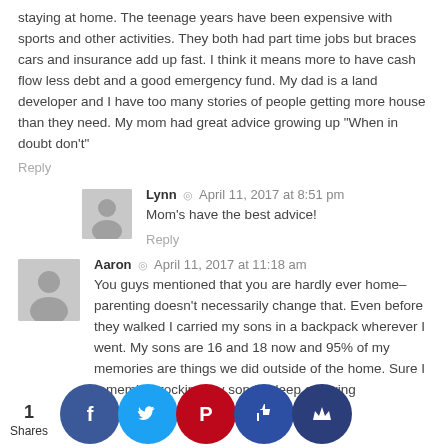staying at home. The teenage years have been expensive with sports and other activities. They both had part time jobs but braces cars and insurance add up fast. I think it means more to have cash flow less debt and a good emergency fund. My dad is a land developer and I have too many stories of people getting more house than they need. My mom had great advice growing up "When in doubt don't"
Reply
Lynn  ◎  April 11, 2017 at 8:51 pm
Mom's have the best advice!
Reply
Aaron  ◎  April 11, 2017 at 11:18 am
You guys mentioned that you are hardly ever home– parenting doesn't necessarily change that. Even before they walked I carried my sons in a backpack wherever I went. My sons are 16 and 18 now and 95% of my memories are things we did outside of the home. Sure I remember rocking my son to sleep or giving th...ath, bu...use lit...ever co...ed a si... th...er tha...ing she...aybe it...de diffe...
1
Shares